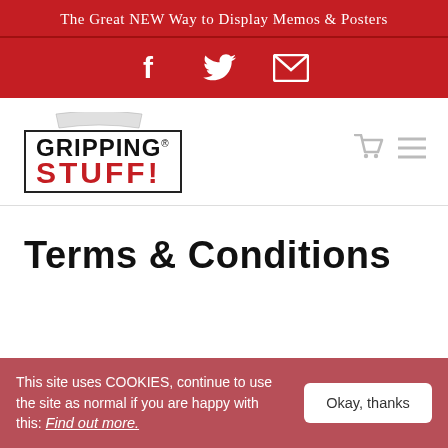The Great NEW Way to Display Memos & Posters
[Figure (other): Social media icons bar with Facebook, Twitter, and email icons on red background]
[Figure (logo): Gripping Stuff! logo — GRIPPING in black bold inside a bordered box with registered trademark, STUFF! in red bold below]
Terms & Conditions
This site uses COOKIES, continue to use the site as normal if you are happy with this: Find out more.